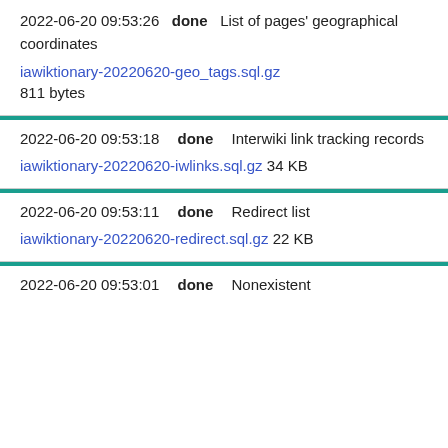2022-06-20 09:53:26  done  List of pages' geographical coordinates
iawiktionary-20220620-geo_tags.sql.gz 811 bytes
2022-06-20 09:53:18  done  Interwiki link tracking records
iawiktionary-20220620-iwlinks.sql.gz 34 KB
2022-06-20 09:53:11  done  Redirect list
iawiktionary-20220620-redirect.sql.gz 22 KB
2022-06-20 09:53:01  done  Nonexistent